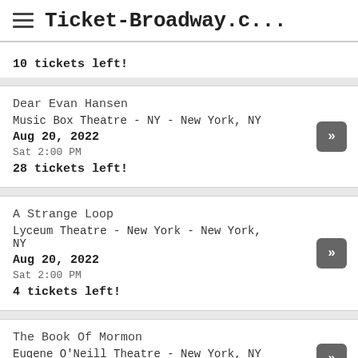Ticket-Broadway.c...
10 tickets left!
Dear Evan Hansen | Music Box Theatre - NY - New York, NY | Aug 20, 2022 | Sat 2:00 PM | 28 tickets left!
A Strange Loop | Lyceum Theatre - New York - New York, NY | Aug 20, 2022 | Sat 2:00 PM | 4 tickets left!
The Book Of Mormon | Eugene O'Neill Theatre - New York, NY